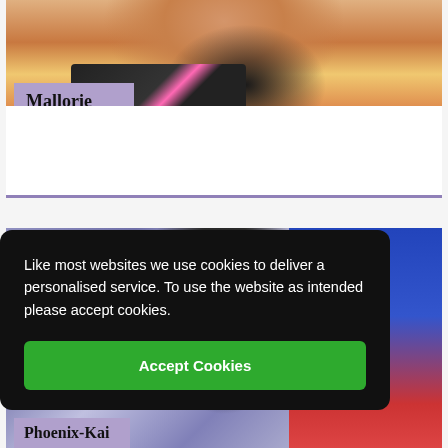[Figure (photo): Photo of a person (Mallorie) with reddish-brown hair wearing a pink and black patterned top, against a warm background.]
Mallorie
[Figure (photo): Photo of a person (Phoenix-Kai) with dark hair against a purple/blue background with red/flag elements on the right.]
Like most websites we use cookies to deliver a personalised service. To use the website as intended please accept cookies.
Accept Cookies
Phoenix-Kai